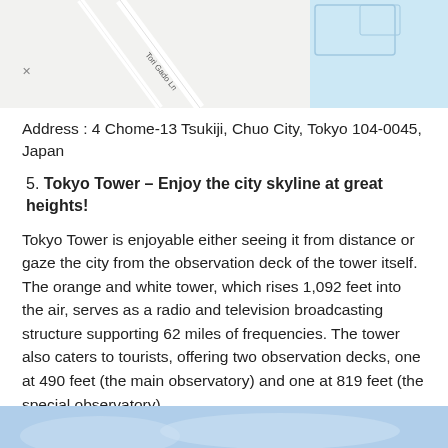[Figure (map): Partial map screenshot showing streets near Tsukiji area, Tokyo, with light blue water area visible on the right side]
Address : 4 Chome-13 Tsukiji, Chuo City, Tokyo 104-0045, Japan
5. Tokyo Tower – Enjoy the city skyline at great heights!
Tokyo Tower is enjoyable either seeing it from distance or gaze the city from the observation deck of the tower itself. The orange and white tower, which rises 1,092 feet into the air, serves as a radio and television broadcasting structure supporting 62 miles of frequencies. The tower also caters to tourists, offering two observation decks, one at 490 feet (the main observatory) and one at 819 feet (the special observatory).
[Figure (photo): Partial photo at bottom of page showing a blue sky scene, likely related to Tokyo Tower]